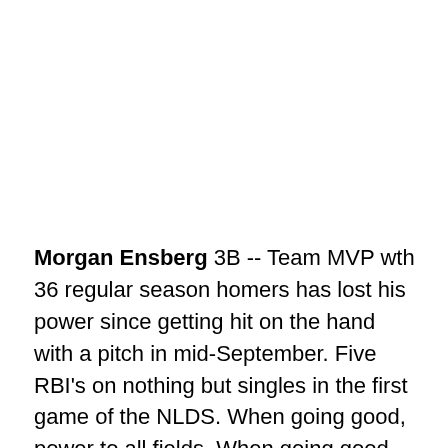Morgan Ensberg 3B -- Team MVP wth 36 regular season homers has lost his power since getting hit on the hand with a pitch in mid-September. Five RBI's on nothing but singles in the first game of the NLDS. When going good, power to all fields. When going good, one of the most discerning batting eyes I have ever seen. Good defensively, especially on foul balls moving toward the jutting corner of the stands behind third base at Minute Maid. Good arm, and sound